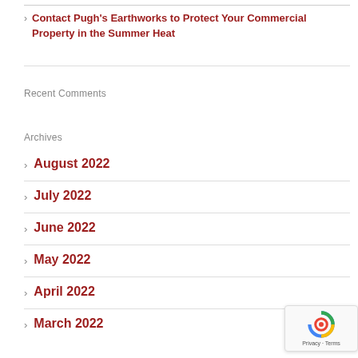Contact Pugh's Earthworks to Protect Your Commercial Property in the Summer Heat
Recent Comments
Archives
August 2022
July 2022
June 2022
May 2022
April 2022
March 2022